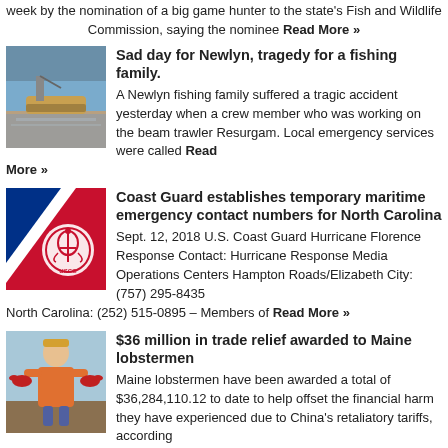week by the nomination of a big game hunter to the state's Fish and Wildlife Commission, saying the nominee Read More »
[Figure (photo): Fishing boat in harbor at Newlyn]
Sad day for Newlyn, tragedy for a fishing family.
A Newlyn fishing family suffered a tragic accident yesterday when a crew member who was working on the beam trawler Resurgam. Local emergency services were called Read More »
[Figure (logo): US Coast Guard logo on red background]
Coast Guard establishes temporary maritime emergency contact numbers for North Carolina
Sept. 12, 2018 U.S. Coast Guard Hurricane Florence Response Contact: Hurricane Response Media Operations Centers Hampton Roads/Elizabeth City: (757) 295-8435 North Carolina: (252) 515-0895 – Members of Read More »
[Figure (photo): Maine lobsterman holding lobsters]
$36 million in trade relief awarded to Maine lobstermen
Maine lobstermen have been awarded a total of $36,284,110.12 to date to help offset the financial harm they have experienced due to China's retaliatory tariffs, according
Read More »